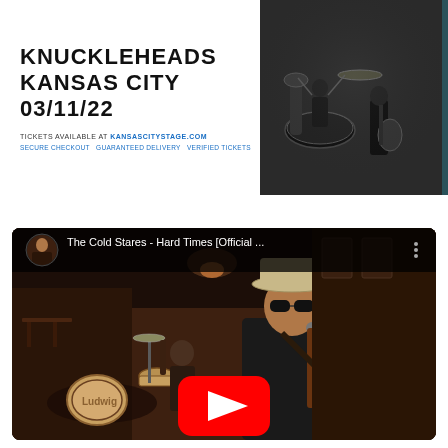KNUCKLEHEADS
KANSAS CITY   03/11/22
TICKETS AVAILABLE AT KANSASCITYSTAGE.COM
SECURE CHECKOUT  GUARANTEED DELIVERY  VERIFIED TICKETS
[Figure (photo): Black and white photo of musicians performing on stage, showing drummer and guitarist]
[Figure (screenshot): YouTube video embed showing 'The Cold Stares - Hard Times [Official ...' with a thumbnail of a man wearing a hat and sunglasses playing guitar and singing into a microphone in a bar setting, with a drummer visible in the background, and a YouTube play button overlay in the center]